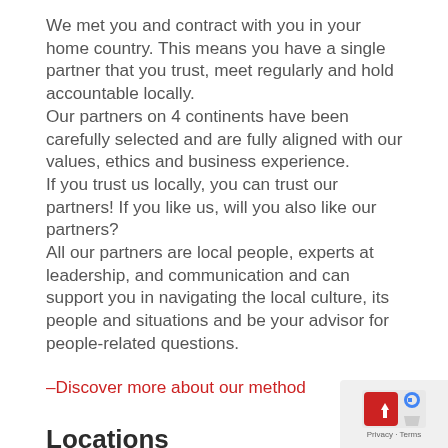We met you and contract with you in your home country. This means you have a single partner that you trust, meet regularly and hold accountable locally.
Our partners on 4 continents have been carefully selected and are fully aligned with our values, ethics and business experience.
If you trust us locally, you can trust our partners! If you like us, will you also like our partners?
All our partners are local people, experts at leadership, and communication and can support you in navigating the local culture, its people and situations and be your advisor for people-related questions.
–Discover more about our method
Locations
With local partners in 5 countries on 4 continents teach in English, French, and German, we can support